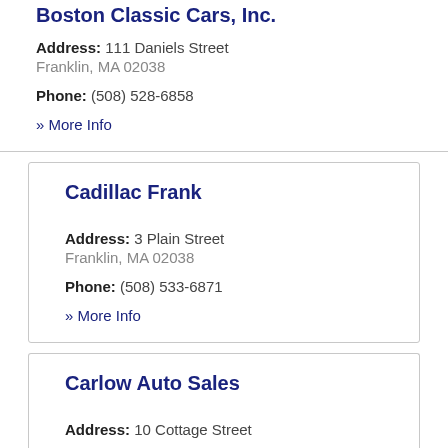Boston Classic Cars, Inc.
Address: 111 Daniels Street
Franklin, MA 02038
Phone: (508) 528-6858
» More Info
Cadillac Frank
Address: 3 Plain Street
Franklin, MA 02038
Phone: (508) 533-6871
» More Info
Carlow Auto Sales
Address: 10 Cottage Street